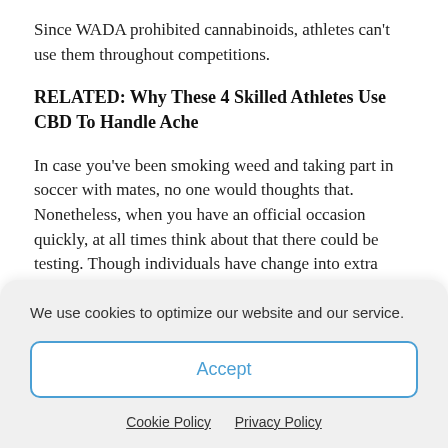Since WADA prohibited cannabinoids, athletes can't use them throughout competitions.
RELATED: Why These 4 Skilled Athletes Use CBD To Handle Ache
In case you've been smoking weed and taking part in soccer with mates, no one would thoughts that. Nonetheless, when you have an official occasion quickly, at all times think about that there could be testing. Though individuals have change into extra conscious of the constructive results of marijuana
We use cookies to optimize our website and our service.
Accept
Cookie Policy   Privacy Policy